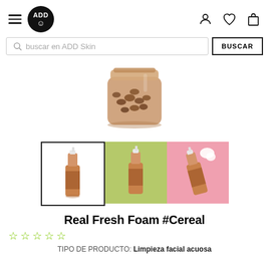ADD Skin - navigation header with hamburger menu, ADD logo, user/wishlist/cart icons
buscar en ADD Skin
BUSCAR
[Figure (photo): Glass jar with coffee beans/cereal, amber/brown tinted, product ingredient photo]
[Figure (photo): Three product thumbnails of Real Fresh Foam #Cereal bottle - first selected with black border, second on green background, third on pink background with foam]
Real Fresh Foam #Cereal
☆☆☆☆☆ (5 empty stars, green outline)
TIPO DE PRODUCTO: Limpieza facial acuosa